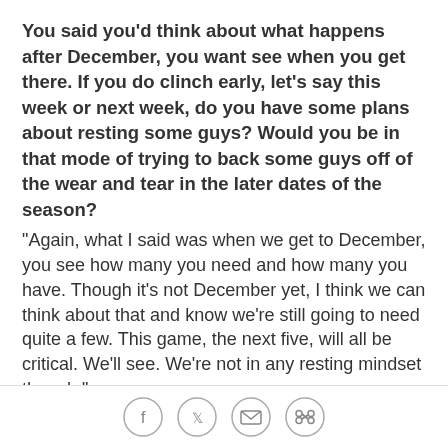You said you'd think about what happens after December, you want see when you get there. If you do clinch early, let's say this week or next week, do you have some plans about resting some guys? Would you be in that mode of trying to back some guys off of the wear and tear in the later dates of the season?
"Again, what I said was when we get to December, you see how many you need and how many you have. Though it's not December yet, I think we can think about that and know we're still going to need quite a few. This game, the next five, will all be critical. We'll see. We're not in any resting mindset though."
We just spoke with WR Braylon Edwards who said he has been dealing with a nagging shoulder issue
[Figure (infographic): Social sharing icons: Facebook, Twitter, email, and link/copy icons in circular outlines]